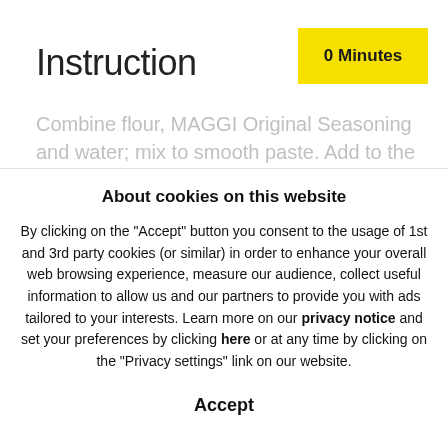Instruction
0 Minutes
Combine flour, MAGGI Original Seasoning and water; mix to smooth paste. Add to the pan with
About cookies on this website
By clicking on the "Accept" button you consent to the usage of 1st and 3rd party cookies (or similar) in order to enhance your overall web browsing experience, measure our audience, collect useful information to allow us and our partners to provide you with ads tailored to your interests. Learn more on our privacy notice and set your preferences by clicking here or at any time by clicking on the "Privacy settings" link on our website.
Accept